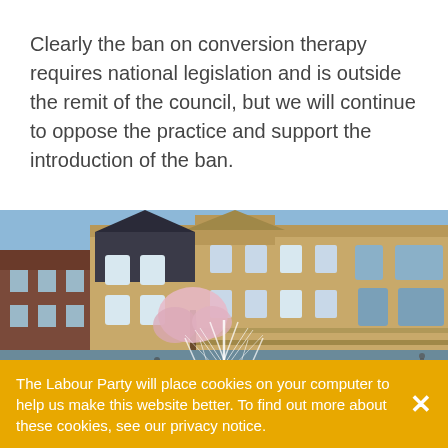Clearly the ban on conversion therapy requires national legislation and is outside the remit of the council, but we will continue to oppose the practice and support the introduction of the ban.
[Figure (photo): Photograph of a large Victorian-era stone municipal building with a fountain in the foreground and blue sky above. Likely Sheffield Town Hall.]
The Labour Party will place cookies on your computer to help us make this website better. To find out more about these cookies, see our privacy notice.